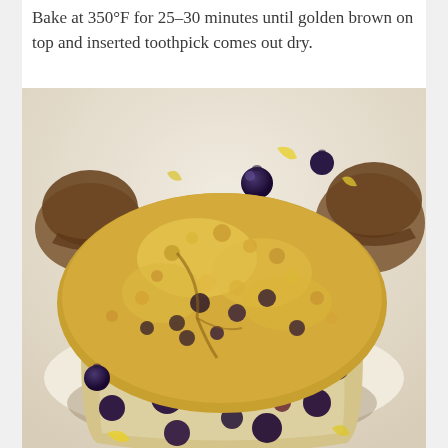Bake at 350°F for 25-30 minutes until golden brown on top and inserted toothpick comes out dry.
[Figure (photo): Close-up photo of a blueberry streusel muffin cut in half, showing the interior filled with blueberries, topped with a golden crumb topping. Several whole blueberries and lemon zest are scattered around the muffin on parchment paper. Additional muffins in paper liners are visible in the background.]